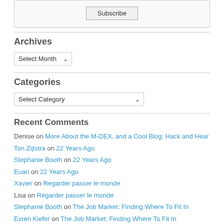[Figure (screenshot): Subscribe button inside a bordered box]
Archives
[Figure (screenshot): Select Month dropdown]
Categories
[Figure (screenshot): Select Category dropdown]
Recent Comments
Denise on More About the M-DEX, and a Cool Blog: Hack and Hear
Ton Zijlstra on 22 Years Ago
Stephanie Booth on 22 Years Ago
Euan on 22 Years Ago
Xavier on Regarder passer le monde
Lisa on Regarder passer le monde
Stephanie Booth on The Job Market: Finding Where To Fit In
Evren Kiefer on The Job Market: Finding Where To Fit In
Stephanie Booth on Il y a mouvement et mouvement